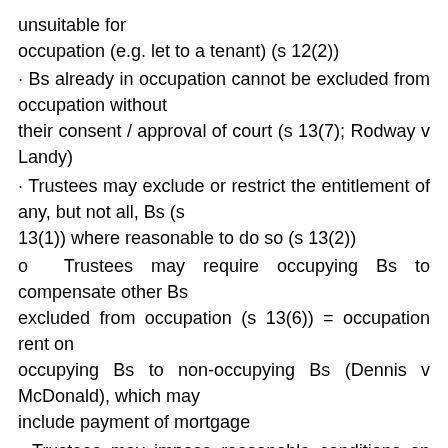unsuitable for occupation (e.g. let to a tenant) (s 12(2))
· Bs already in occupation cannot be excluded from occupation without their consent / approval of court (s 13(7); Rodway v Landy)
· Trustees may exclude or restrict the entitlement of any, but not all, Bs (s 13(1)) where reasonable to do so (s 13(2))
o Trustees may require occupying Bs to compensate other Bs excluded from occupation (s 13(6)) = occupation rent on occupying Bs to non-occupying Bs (Dennis v McDonald), which may include payment of mortgage
· Trustees may impose reasonable conditions on the occupying Bs (e.g. requiring they pay outgoings) (s 13(3))